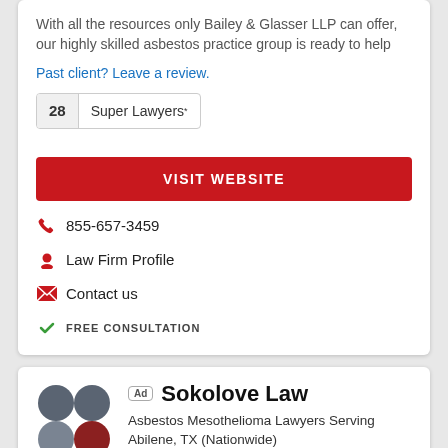With all the resources only Bailey & Glasser LLP can offer, our highly skilled asbestos practice group is ready to help
Past client? Leave a review.
28 Super Lawyers*
VISIT WEBSITE
855-657-3459
Law Firm Profile
Contact us
FREE CONSULTATION
Ad Sokolove Law
Asbestos Mesothelioma Lawyers Serving Abilene, TX (Nationwide)